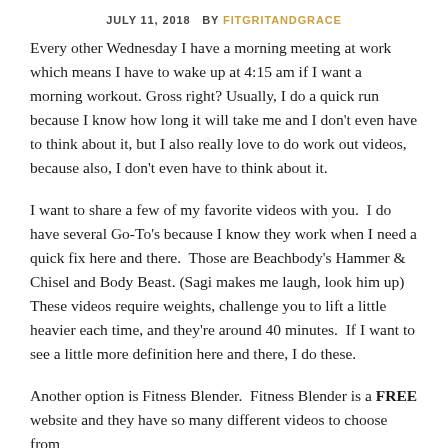JULY 11, 2018   BY FITGRITANDGRACE
Every other Wednesday I have a morning meeting at work which means I have to wake up at 4:15 am if I want a morning workout. Gross right? Usually, I do a quick run because I know how long it will take me and I don't even have to think about it, but I also really love to do work out videos, because also, I don't even have to think about it.
I want to share a few of my favorite videos with you.  I do have several Go-To's because I know they work when I need a quick fix here and there.  Those are Beachbody's Hammer & Chisel and Body Beast. (Sagi makes me laugh, look him up)  These videos require weights, challenge you to lift a little heavier each time, and they're around 40 minutes.  If I want to see a little more definition here and there, I do these.
Another option is Fitness Blender.  Fitness Blender is a FREE website and they have so many different videos to choose from